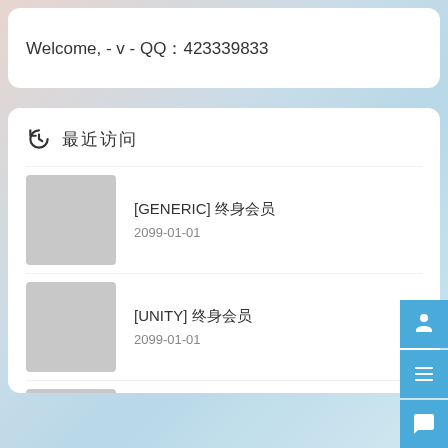Welcome, - v - QQ：423339833
⟲ 最近访问
[GENERIC] 终身会员
2099-01-01
[UNITY] 终身会员
2099-01-01
[UE] 终身会员
2099-01-01